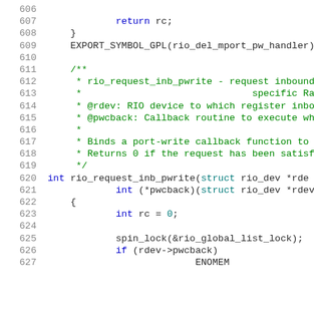606-626 source code lines showing C function definitions and comments for rio_request_inb_pwrite